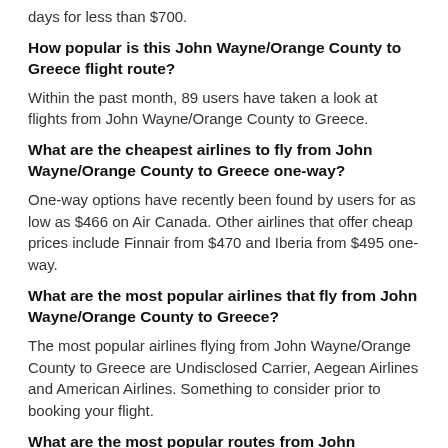days for less than $700.
How popular is this John Wayne/Orange County to Greece flight route?
Within the past month, 89 users have taken a look at flights from John Wayne/Orange County to Greece.
What are the cheapest airlines to fly from John Wayne/Orange County to Greece one-way?
One-way options have recently been found by users for as low as $466 on Air Canada. Other airlines that offer cheap prices include Finnair from $470 and Iberia from $495 one-way.
What are the most popular airlines that fly from John Wayne/Orange County to Greece?
The most popular airlines flying from John Wayne/Orange County to Greece are Undisclosed Carrier, Aegean Airlines and American Airlines. Something to consider prior to booking your flight.
What are the most popular routes from John